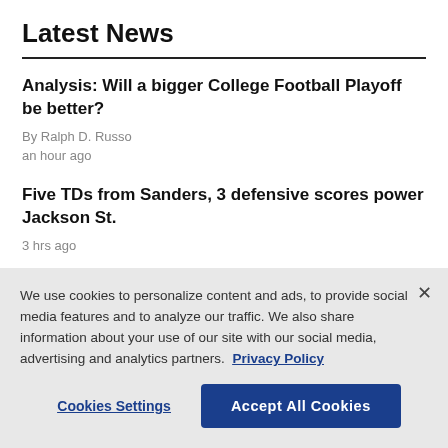Latest News
Analysis: Will a bigger College Football Playoff be better?
By Ralph D. Russo
an hour ago
Five TDs from Sanders, 3 defensive scores power Jackson St.
3 hrs ago
We use cookies to personalize content and ads, to provide social media features and to analyze our traffic. We also share information about your use of our site with our social media, advertising and analytics partners. Privacy Policy
Cookies Settings | Accept All Cookies